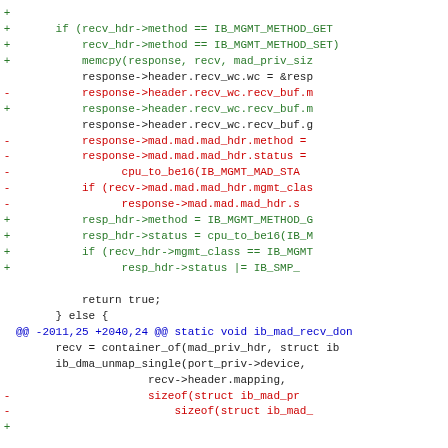Code diff showing changes to ib_mad receive handling function including method checks, memcpy calls, header field assignments, and function signature for ib_mad_recv_don
[Figure (screenshot): Git diff output showing added (+) and removed (-) lines of C code for InfiniBand MAD (Management Datagram) receive handling, with green lines for additions, red for deletions, and blue for diff hunk headers]